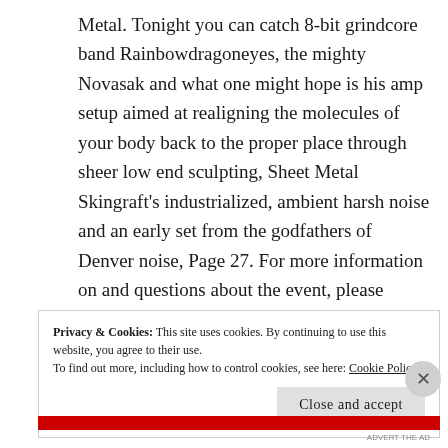Metal. Tonight you can catch 8-bit grindcore band Rainbowdragoneyes, the mighty Novasak and what one might hope is his amp setup aimed at realigning the molecules of your body back to the proper place through sheer low end sculpting, Sheet Metal Skingraft's industrialized, ambient harsh noise and an early set from the godfathers of Denver noise, Page 27. For more information on and questions about the event, please email the organizers at UltraMetal2017@gmail.com.
Privacy & Cookies: This site uses cookies. By continuing to use this website, you agree to their use. To find out more, including how to control cookies, see here: Cookie Policy
Close and accept